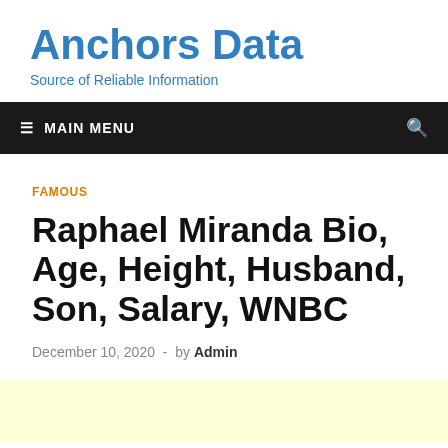Anchors Data
Source of Reliable Information
≡ MAIN MENU
FAMOUS
Raphael Miranda Bio, Age, Height, Husband, Son, Salary, WNBC
December 10, 2020  -  by Admin